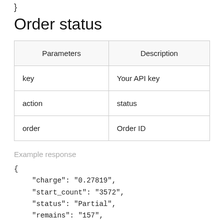}
Order status
| Parameters | Description |
| --- | --- |
| key | Your API key |
| action | status |
| order | Order ID |
Example response
{
    "charge": "0.27819",
    "start_count": "3572",
    "status": "Partial",
    "remains": "157",